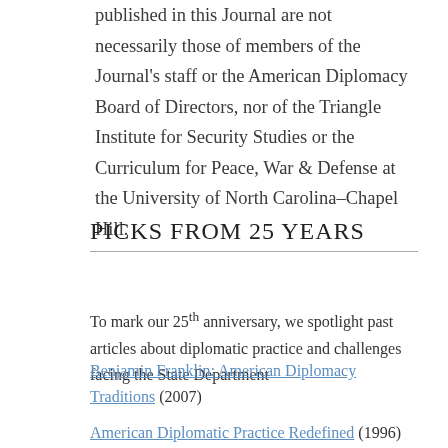published in this Journal are not necessarily those of members of the Journal's staff or the American Diplomacy Board of Directors, nor of the Triangle Institute for Security Studies or the Curriculum for Peace, War & Defense at the University of North Carolina–Chapel Hill.
PICKS FROM 25 YEARS
To mark our 25th anniversary, we spotlight past articles about diplomatic practice and challenges facing the State Department
Benjamin Franklin: American Diplomacy Traditions (2007)
American Diplomatic Practice Redefined (1996)